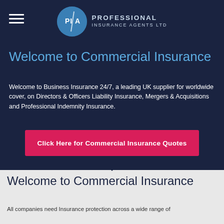PIA PROFESSIONAL INSURANCE AGENTS LTD
Welcome to Commercial Insurance
Welcome to Business Insurance 24/7, a leading UK supplier for worldwide cover, on Directors & Officers Liability Insurance, Mergers & Acquisitions and Professional Indemnity Insurance.
Click Here for Commercial Insurance Quotes
Welcome to Commercial Insurance
All companies need Insurance protection across a wide range of